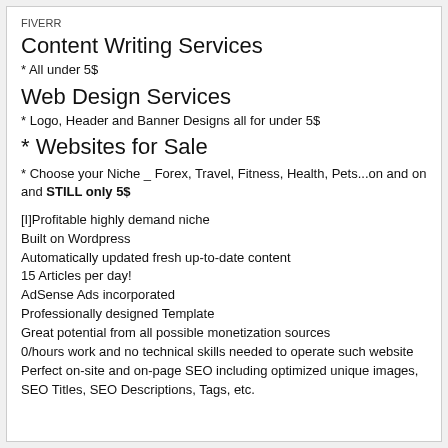FIVERR
Content Writing Services
* All under 5$
Web Design Services
* Logo, Header and Banner Designs all for under 5$
* Websites for Sale
* Choose your Niche _ Forex, Travel, Fitness, Health, Pets...on and on and STILL only 5$
[I]Profitable highly demand niche
Built on Wordpress
Automatically updated fresh up-to-date content
15 Articles per day!
AdSense Ads incorporated
Professionally designed Template
Great potential from all possible monetization sources
0/hours work and no technical skills needed to operate such website
Perfect on-site and on-page SEO including optimized unique images, SEO Titles, SEO Descriptions, Tags, etc.